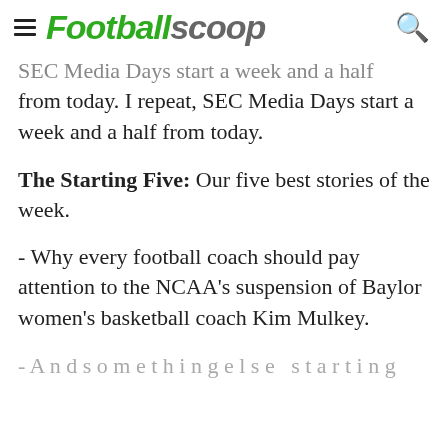Footballscoop
SEC Media Days start a week and a half from today. I repeat, SEC Media Days start a week and a half from today.
The Starting Five: Our five best stories of the week.
- Why every football coach should pay attention to the NCAA's suspension of Baylor women's basketball coach Kim Mulkey.
- A n d s o m e t h i n g e l s e s t a r t i n g…